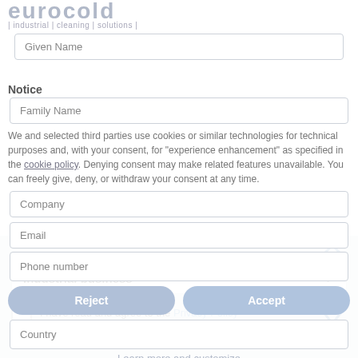[Figure (logo): Eurocold logo in large grey letters]
| industrial | cleaning | solutions |
Given Name
Notice
Family Name
We and selected third parties use cookies or similar technologies for technical purposes and, with your consent, for "experience enhancement" as specified in the cookie policy. Denying consent may make related features unavailable. You can freely give, deny, or withdraw your consent at any time.
Company
Email
Phone number
Reject
Accept
Country
Learn more and customize
Message
Industrial business
I have read and agree to the Privacy Policy *